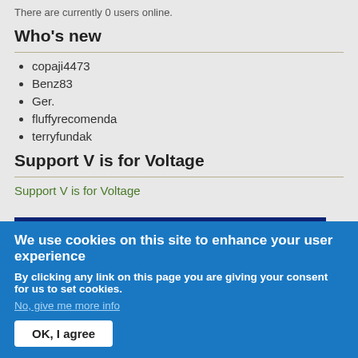There are currently 0 users online.
Who's new
copaji4473
Benz83
Ger.
fluffyrecomenda
terryfundak
Support V is for Voltage
Support V is for Voltage
[Figure (other): David Herron banner with dark blue background and white bold text]
We use cookies on this site to enhance your user experience
By clicking any link on this page you are giving your consent for us to set cookies.
No, give me more info
OK, I agree